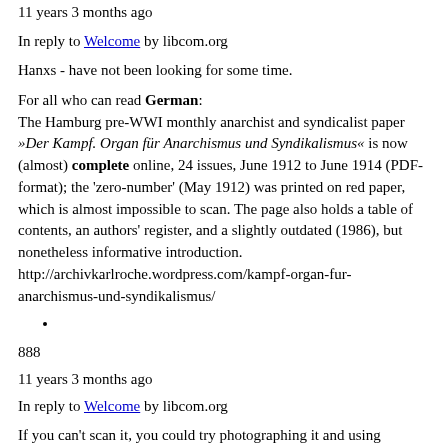11 years 3 months ago
In reply to Welcome by libcom.org
Hanxs - have not been looking for some time.
For all who can read German: The Hamburg pre-WWI monthly anarchist and syndicalist paper »Der Kampf. Organ für Anarchismus und Syndikalismus« is now (almost) complete online, 24 issues, June 1912 to June 1914 (PDF-format); the 'zero-number' (May 1912) was printed on red paper, which is almost impossible to scan. The page also holds a table of contents, an authors' register, and a slightly outdated (1986), but nonetheless informative introduction. http://archivkarlroche.wordpress.com/kampf-organ-fur-anarchismus-und-syndikalismus/
888
11 years 3 months ago
In reply to Welcome by libcom.org
If you can't scan it, you could try photographing it and using photoshop to alter the colours if necessary.